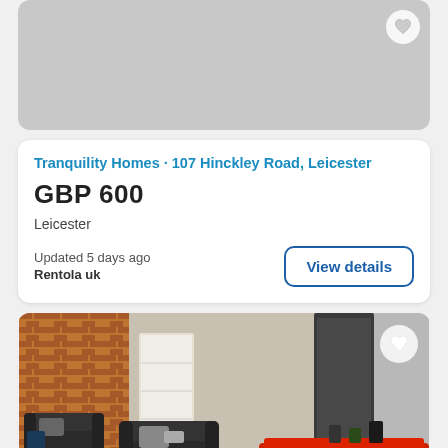[Figure (photo): Gray placeholder image area at the top of the listing card]
Tranquility Homes · 107 Hinckley Road, Leicester
GBP 600
Leicester
Updated 5 days ago
Rentola uk
View details
[Figure (photo): Interior photo of a living room with black leather sofas, brick wall, shelving unit, dark door, and a red table in the foreground. A heart icon and '10 pictures >' badge are overlaid.]